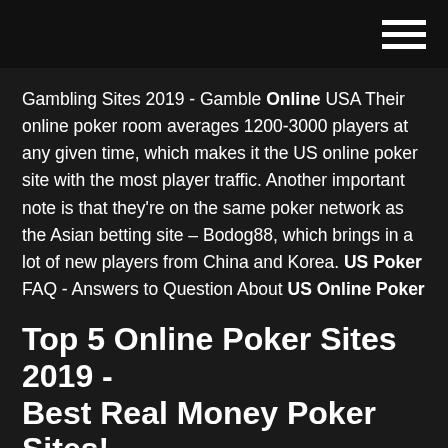Gambling Sites 2019 - Gamble Online USA Their online poker room averages 1200-3000 players at any given time, which makes it the US online poker site with the most player traffic. Another important note is that they're on the same poker network as the Asian betting site – Bodog88, which brings in a lot of new players from China and Korea. US Poker FAQ - Answers to Question About US Online Poker
Top 5 Online Poker Sites 2019 - Best Real Money Poker Sites!
US Poker Sites|Best Real Money Online Poker for USA Players The laws for real-money online poker in the USA are still in flux but at this point just three states offer games for